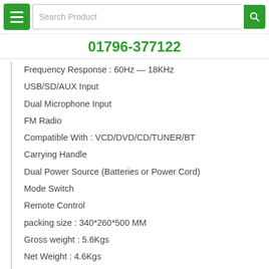Search Product
01796-377122
Frequency Response : 60Hz — 18KHz
USB/SD/AUX Input
Dual Microphone Input
FM Radio
Compatible With : VCD/DVD/CD/TUNER/BT
Carrying Handle
Dual Power Source (Batteries or Power Cord)
Mode Switch
Remote Control
packing size : 340*260*500 MM
Gross weight : 5.6Kgs
Net Weight : 4.6Kgs
Colour : Black
আমাদের সাথেই থাকুন বাংলাদেশের সেরা অনলাইন শপ